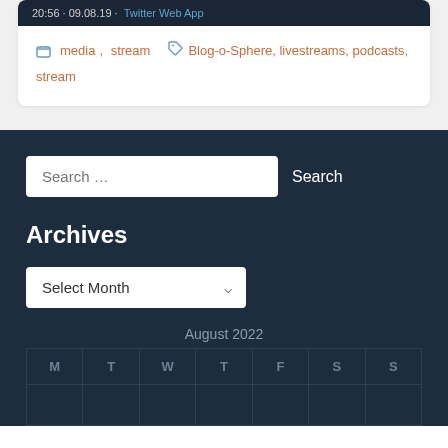20:56 · 09.08.19 · Twitter Web App
media, stream · Blog-o-Sphere, livestreams, podcasts, stream
Search …
Search
Archives
Select Month
August 2022
| M | T | W | T | F | S | S |
| --- | --- | --- | --- | --- | --- | --- |
|  |  |  |  |  |  |  |